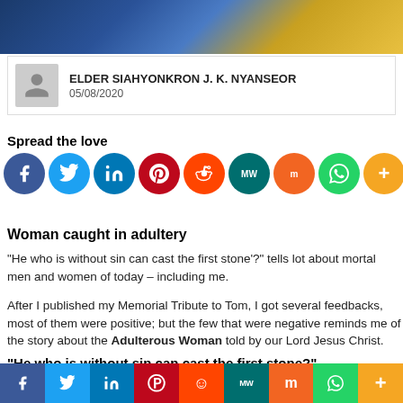[Figure (photo): Decorative header image with blue circuit board and gold pattern]
ELDER SIAHYONKRON J. K. NYANSEOR
05/08/2020
Spread the love
[Figure (infographic): Social sharing icons row: Facebook, Twitter, LinkedIn, Pinterest, Reddit, MeWe, Mix, WhatsApp, More]
Woman caught in adultery
“He who is without sin can cast the first stone’?” tells lot about mortal men and women of today – including me.
After I published my Memorial Tribute to Tom, I got several feedbacks, most of them were positive; but the few that were negative reminds me of the story about the Adulterous Woman told by our Lord Jesus Christ.
“He who is without sin can cast the first stone?”
[Figure (infographic): Bottom social sharing bar: Facebook, Twitter, LinkedIn, Pinterest, Reddit, MeWe, Mix, WhatsApp, More]